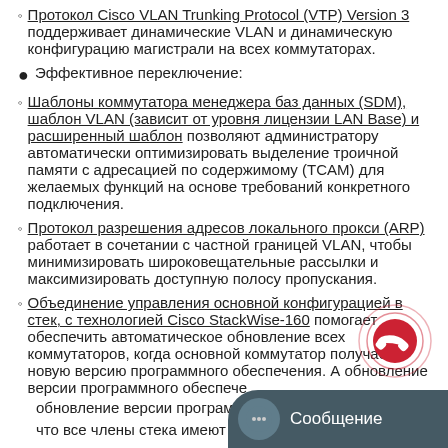Протокол Cisco VLAN Trunking Protocol (VTP) Version 3 поддерживает динамические VLAN и динамическую конфигурацию магистрали на всех коммутаторах.
Эффективное переключение:
Шаблоны коммутатора менеджера баз данных (SDM), шаблон VLAN (зависит от уровня лицензии LAN Base) и расширенный шаблон позволяют администратору автоматически оптимизировать выделение троичной памяти с адресацией по содержимому (TCAM) для желаемых функций на основе требований конкретного подключения.
Протокол разрешения адресов локального прокси (ARP) работает в сочетании с частной границей VLAN, чтобы минимизировать широковещательные рассылки и максимизировать доступную полосу пропускания.
Объединение управления основной конфигурацией в стек, с технологией Cisco StackWise-160 помогает обеспечить автоматическое обновление всех коммутаторов, когда основной коммутатор получает новую версию программного обеспечения. А обновление версии программного обеспече... что все члены стека имеют одинаковую по...
[Figure (screenshot): Mobile UI overlay: red phone call button with ripple effect circle, and a dark blue-grey message button with chat icon and text 'Сообщение']